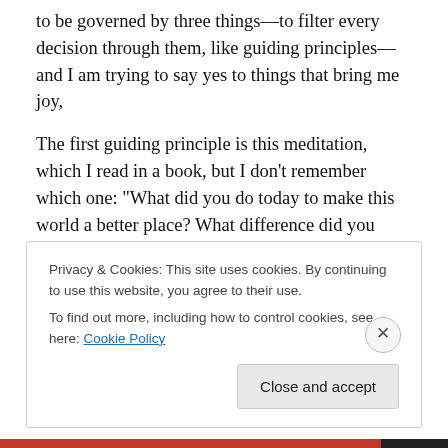to be governed by three things—to filter every decision through them, like guiding principles—and I am trying to say yes to things that bring me joy,
The first guiding principle is this meditation, which I read in a book, but I don't remember which one: “What did you do today to make this world a better place? What difference did you make in someone’s life today? How did you let someone make a difference in your life today?” When I end my days in this manner, I get the opportunity to reflect and think about how I am reacting and responding to the
Privacy & Cookies: This site uses cookies. By continuing to use this website, you agree to their use.
To find out more, including how to control cookies, see here: Cookie Policy